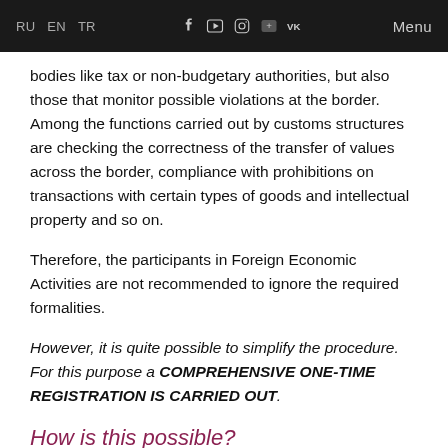RU EN TR Menu
bodies like tax or non-budgetary authorities, but also those that monitor possible violations at the border. Among the functions carried out by customs structures are checking the correctness of the transfer of values across the border, compliance with prohibitions on transactions with certain types of goods and intellectual property and so on.
Therefore, the participants in Foreign Economic Activities are not recommended to ignore the required formalities.
However, it is quite possible to simplify the procedure. For this purpose a COMPREHENSIVE ONE-TIME REGISTRATION IS CARRIED OUT.
How is this possible?
Organizations that carry out export-import operations on a regular